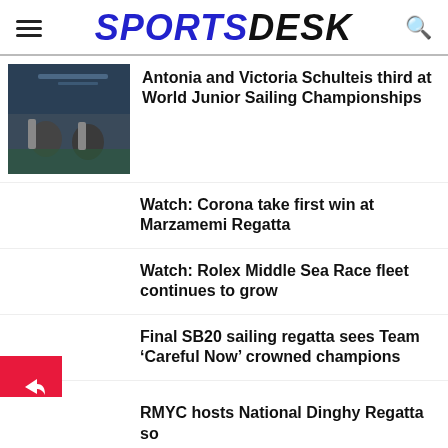SPORTSDESK
Antonia and Victoria Schulteis third at World Junior Sailing Championships
Watch: Corona take first win at Marzamemi Regatta
Watch: Rolex Middle Sea Race fleet continues to grow
Final SB20 sailing regatta sees Team ‘Careful Now’ crowned champions
RMYC hosts National Dinghy Regatta so